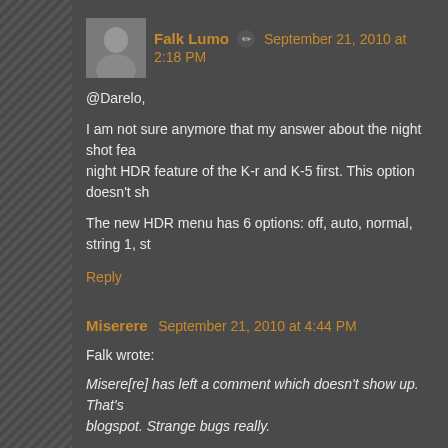Falk Lumo ✏ September 21, 2010 at 2:18 PM
@Darelo,
I am not sure anymore that my answer about the night shot fea night HDR feature of the K-r and K-5 first. This option doesn't sh
The new HDR menu has 6 options: off, auto, normal, string 1, st
Reply
Miserere September 21, 2010 at 4:44 PM
Falk wrote:
Misere[re] has left a comment which doesn't show up. That's blogspot. Strange bugs really.
Falk, you've said this before. Does it have anything to do with t on a different platform so can offer you no assistance here. I hop
Reply
uklirilwin September 21, 2010 at 5:31 PM